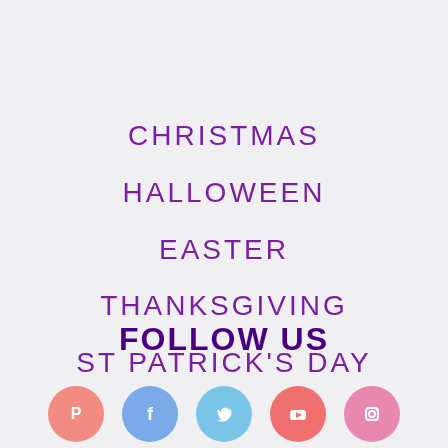CHRISTMAS
HALLOWEEN
EASTER
THANKSGIVING
ST PATRICK'S DAY
FOLLOW US
[Figure (infographic): Row of 5 social media icons: Pinterest (red), Facebook (blue), Twitter (light blue), YouTube (red), Instagram (pink)]